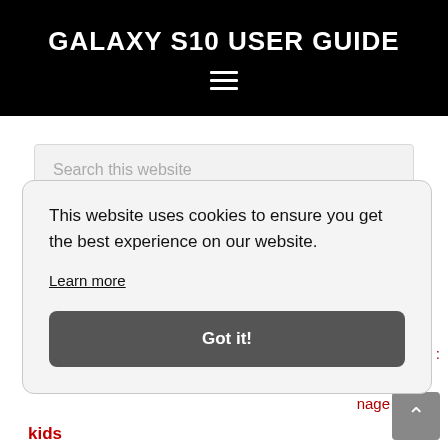GALAXY S10 USER GUIDE
[Figure (other): Hamburger menu icon (three horizontal lines) on black background]
Search this website
This website uses cookies to ensure you get the best experience on our website.
Learn more
Got it!
Phone :
nage
kids